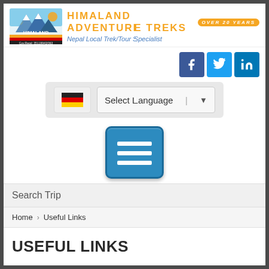[Figure (logo): Himaland Adventure Treks logo with mountain/sunset graphic and text 'HIMALAND', 'Cov.Regd: 35119943/063']
HIMALAND ADVENTURE TREKS  Over 20 years
Nepal Local Trek/Tour Specialist
[Figure (illustration): Social media icons: Facebook (blue), Twitter (light blue), LinkedIn (blue)]
[Figure (illustration): German flag icon and Select Language dropdown with arrow]
[Figure (illustration): Blue hamburger menu button with three white horizontal lines]
Search Trip
Home  >  Useful Links
USEFUL LINKS
Trekking Agencies   www.taan.org.np